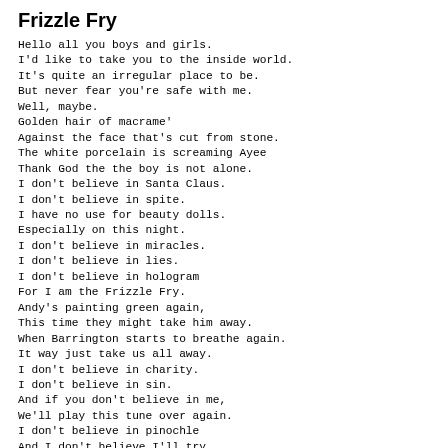Frizzle Fry
Hello all you boys and girls.
I'd like to take you to the inside world.
It's quite an irregular place to be.
But never fear you're safe with me.
Well, maybe.
Golden hair of macrame'
Against the face that's cut from stone.
The white porcelain is screaming Ayee
Thank God the the boy is not alone.
I don't believe in Santa Claus.
I don't believe in spite.
I have no use for beauty dolls.
Especially on this night.
I don't believe in miracles.
I don't believe in lies.
I don't believe in hologram
For I am the Frizzle Fry.
Andy's painting green again,
This time they might take him away.
When Barrington starts to breathe again.
It way just take us all away.
I don't believe in charity.
I don't believe in sin.
And if you don't believe in me,
We'll play this tune over again.
I don't believe in pinochle
And I don't believe I'll try.
I do believe in Captain Crunch